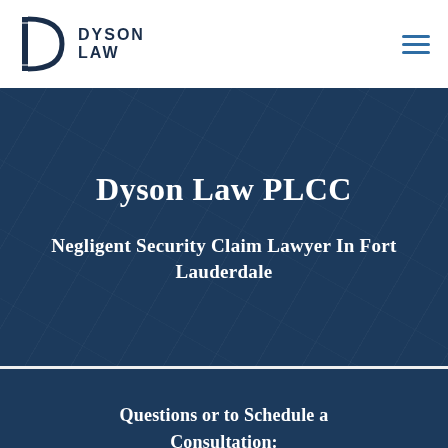[Figure (logo): Dyson Law logo with stylized D icon and text DYSON LAW]
Dyson Law PLCC
Negligent Security Claim Lawyer in Fort Lauderdale
Questions or to Schedule a Consultation:
Call (561) 498-9979